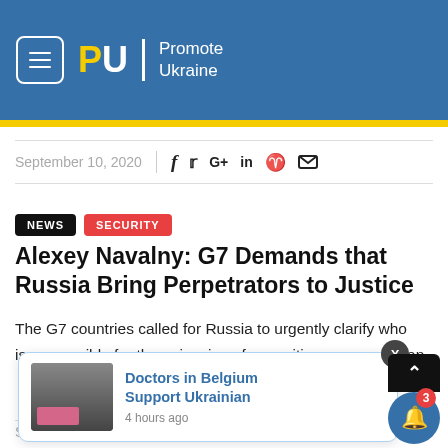Promote Ukraine
September 10, 2020
NEWS  SECURITY
Alexey Navalny: G7 Demands that Russia Bring Perpetrators to Justice
The G7 countries called for Russia to urgently clarify who is responsible for the poisoning of opposition politician ... to justice. T... s. "We, th...
[Figure (screenshot): Popup notification card showing 'Doctors in Belgium Support Ukrainian' with thumbnail image and '4 hours ago' timestamp]
September 9, 2020